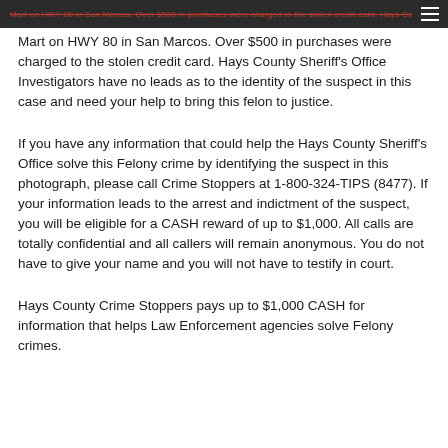Mart on HWY 80 in San Marcos. Over $500 in purchases were charged to the stolen credit card. Hays County Sheriff's Office Investigators have no leads as to the identity of the suspect in this case and need your help to bring this felon to justice.
If you have any information that could help the Hays County Sheriff's Office solve this Felony crime by identifying the suspect in this photograph, please call Crime Stoppers at 1-800-324-TIPS (8477). If your information leads to the arrest and indictment of the suspect, you will be eligible for a CASH reward of up to $1,000. All calls are totally confidential and all callers will remain anonymous. You do not have to give your name and you will not have to testify in court.
Hays County Crime Stoppers pays up to $1,000 CASH for information that helps Law Enforcement agencies solve Felony crimes.